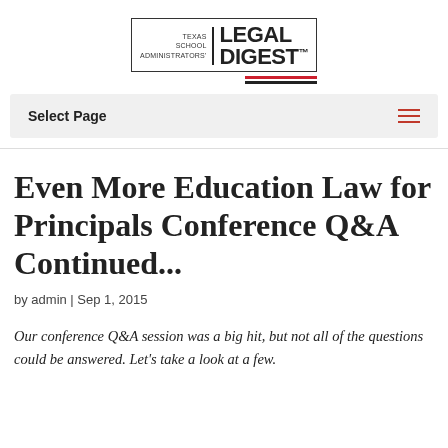[Figure (logo): Texas School Administrators' Legal Digest logo with red and black horizontal lines underneath]
Select Page
Even More Education Law for Principals Conference Q&A Continued...
by admin | Sep 1, 2015
Our conference Q&A session was a big hit, but not all of the questions could be answered.  Let's take a look at a few.